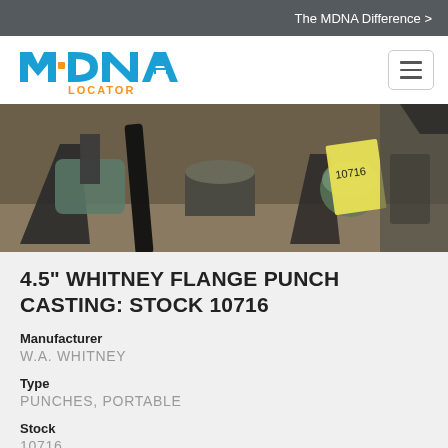The MDNA Difference >
[Figure (logo): MDNA Locator logo — blue block letters M D N A with orange text LOCATOR below]
[Figure (photo): Industrial punch tools and castings laid on a surface with a yellow stock tag reading 10716]
4.5" WHITNEY FLANGE PUNCH CASTING: STOCK 10716
Manufacturer
W.A. WHITNEY
Type
PUNCHES, PORTABLE
Stock
10716